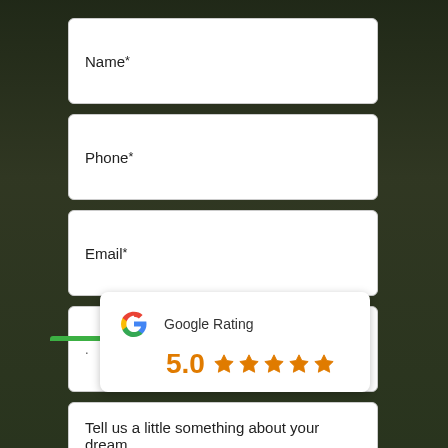Name *
Phone *
Email *
. .
Tell us a little something about your dream backyard
[Figure (logo): Google Rating widget showing 5.0 rating with 5 orange stars and Google G logo]